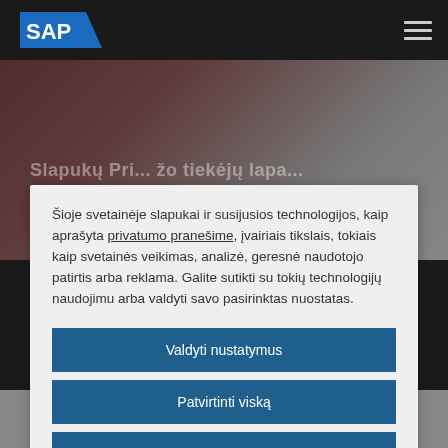[Figure (logo): SAP logo in white and blue on dark navigation bar]
[Figure (photo): Blurred dark hero background image behind cookie consent modal]
Šioje svetainėje slapukai ir susijusios technologijos, kaip aprašyta privatumo pranešime, įvairiais tikslais, tokiais kaip svetainės veikimas, analizė, geresnė naudotojo patirtis arba reklama. Galite sutikti su tokių technologijų naudojimu arba valdyti savo pasirinktas nuostatas.
Valdyti nustatymus
Patvirtinti viską
Atsisakyti visko
Pareiškimas apie slapukus